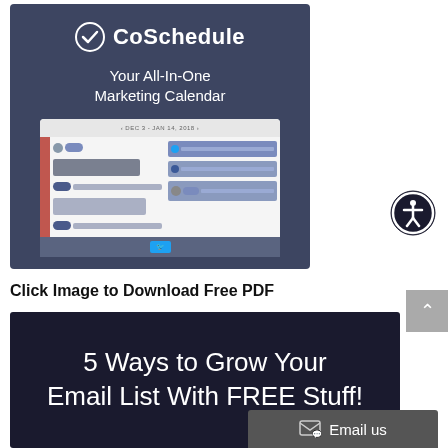[Figure (screenshot): CoSchedule marketing calendar app banner with logo, tagline 'Your All-In-One Marketing Calendar', and a screenshot of the calendar interface showing social media scheduling UI]
[Figure (logo): Accessibility icon - circular person with arms extended inside a circle, dark background]
Click Image to Download Free PDF
[Figure (screenshot): Dark banner image with text '5 Ways to Grow Your Email List With FREE Stuff!' in white on a dark navy/black background]
Email us